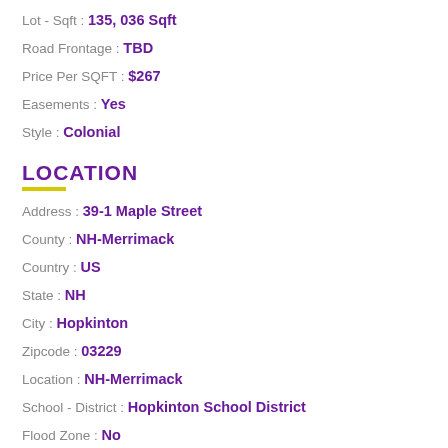Lot - Sqft : 135, 036 Sqft
Road Frontage : TBD
Price Per SQFT : $267
Easements : Yes
Style : Colonial
LOCATION
Address : 39-1 Maple Street
County : NH-Merrimack
Country : US
State : NH
City : Hopkinton
Zipcode : 03229
Location : NH-Merrimack
School - District : Hopkinton School District
Flood Zone : No